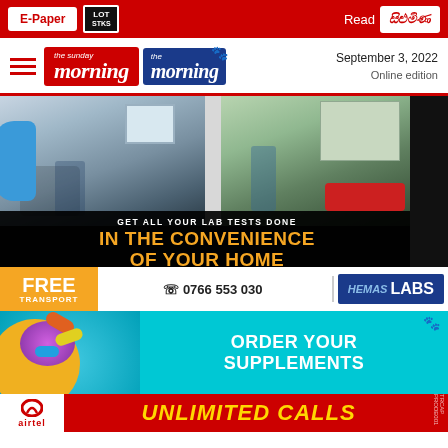E-Paper | Read [Sinhala logo]
the sunday morning | the morning — September 3, 2022 | Online edition
[Figure (photo): Hemas Labs advertisement: healthcare worker with patient in home setting (left panel), nurse with red car in driveway (right panel). Text: GET ALL YOUR LAB TESTS DONE IN THE CONVENIENCE OF YOUR HOME. FREE TRANSPORT. 0766 553 030. HEMAS LABS.]
[Figure (photo): Supplements advertisement on teal background: ORDER YOUR SUPPLEMENTS. Pills/supplements graphic on left.]
[Figure (photo): Airtel advertisement banner: red background, Airtel logo, yellow text UNLIMITED CALLS.]